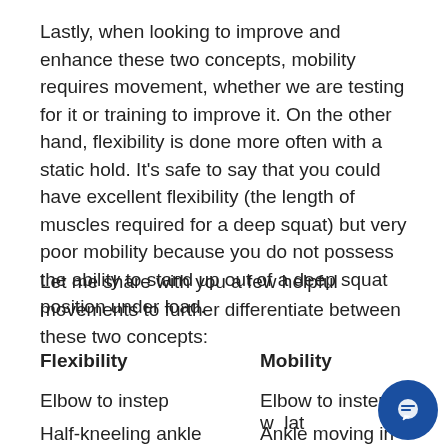Lastly, when looking to improve and enhance these two concepts, mobility requires movement, whether we are testing for it or training to improve it. On the other hand, flexibility is done more often with a static hold. It's safe to say that you could have excellent flexibility (the length of muscles required for a deep squat) but very poor mobility because you do not possess the ability to stand up out of a deep squat position under load.
Let me share with you a few helpful movements to further differentiate between these two concepts:
Flexibility	Mobility
Elbow to instep	Elbow to instep w...lat
Half-kneeling ankle	Ankle moving in a...t